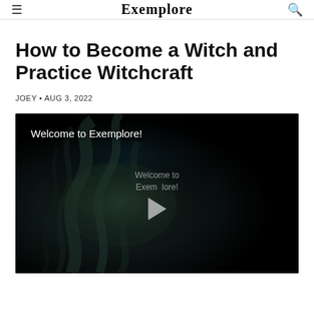Exemplore
How to Become a Witch and Practice Witchcraft
JOEY • AUG 3, 2022
[Figure (screenshot): Video thumbnail with dark smoky background, text 'Welcome to Exemplore!' at top left, centered play button with 'Welcome to Exemplore!' text overlay beneath it.]